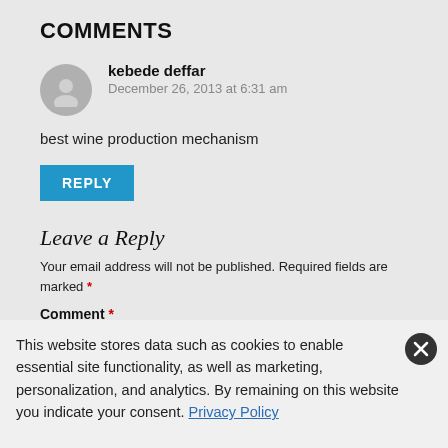COMMENTS
kebede deffar
December 26, 2013 at 6:31 am
best wine production mechanism
REPLY
Leave a Reply
Your email address will not be published. Required fields are marked *
Comment *
This website stores data such as cookies to enable essential site functionality, as well as marketing, personalization, and analytics. By remaining on this website you indicate your consent. Privacy Policy